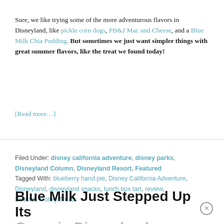Sure, we like trying some of the more adventurous flavors in Disneyland, like pickle corn dogs, PB&J Mac and Cheese, and a Blue Milk Chia Pudding. But sometimes we just want simpler things with great summer flavors, like the treat we found today!
[Read more…]
Filed Under: disney california adventure, disney parks, Disneyland Column, Disneyland Resort, Featured
Tagged With: blueberry hand pie, Disney California Adventure, Disneyland, disneyland snacks, lunch box tart, review, Snacks, Trolley Treats
Blue Milk Just Stepped Up Its Game in Disneyland